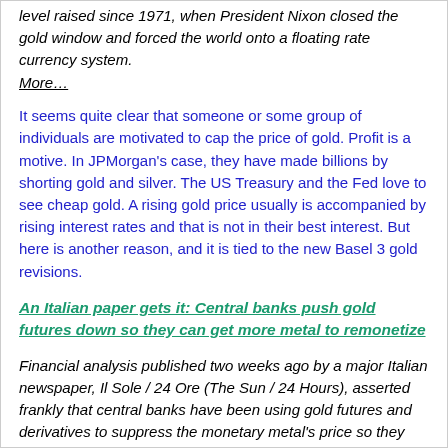level raised since 1971, when President Nixon closed the gold window and forced the world onto a floating rate currency system.
More…
It seems quite clear that someone or some group of individuals are motivated to cap the price of gold. Profit is a motive. In JPMorgan's case, they have made billions by shorting gold and silver. The US Treasury and the Fed love to see cheap gold. A rising gold price usually is accompanied by rising interest rates and that is not in their best interest. But here is another reason, and it is tied to the new Basel 3 gold revisions.
An Italian paper gets it: Central banks push gold futures down so they can get more metal to remonetize
Financial analysis published two weeks ago by a major Italian newspaper, Il Sole / 24 Ore (The Sun / 24 Hours), asserted frankly that central banks have been using gold futures and derivatives to suppress the monetary metal's price so they can obtain more of the metal less expensively in advance of its remonetization under new rules promulgated by the Bank for International Settlements to take effect March 29.